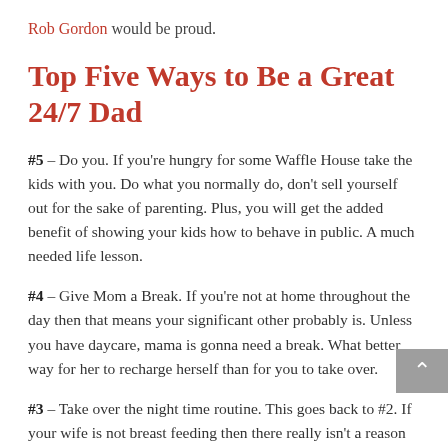Rob Gordon would be proud.
Top Five Ways to Be a Great 24/7 Dad
#5 – Do you. If you're hungry for some Waffle House take the kids with you. Do what you normally do, don't sell yourself out for the sake of parenting. Plus, you will get the added benefit of showing your kids how to behave in public. A much needed life lesson.
#4 – Give Mom a Break. If you're not at home throughout the day then that means your significant other probably is. Unless you have daycare, mama is gonna need a break. What better way for her to recharge herself than for you to take over.
#3 – Take over the night time routine. This goes back to #2. If your wife is not breast feeding then there really isn't a reason why you get to sleep and she doesn't. Taking over the night time routine was one of my best…